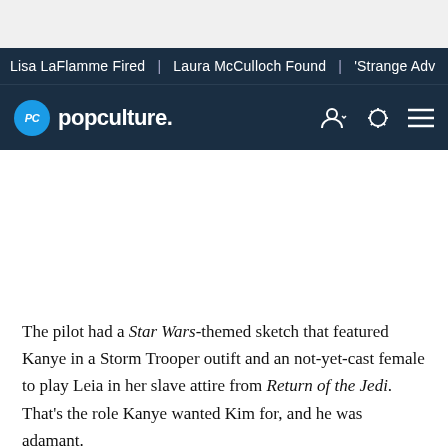Lisa LaFlamme Fired | Laura McCulloch Found | 'Strange Adv...
[Figure (logo): Popculture.com logo with PC circle icon in blue, navigation icons on right]
The pilot had a Star Wars-themed sketch that featured Kanye in a Storm Trooper outift and an not-yet-cast female to play Leia in her slave attire from Return of the Jedi. That's the role Kanye wanted Kim for, and he was adamant.
"We initially wrote it for—I don't want to say Paris Hilton, but